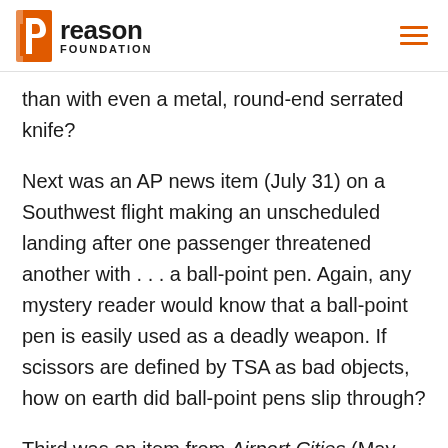reason FOUNDATION
than with even a metal, round-end serrated knife?
Next was an AP news item (July 31) on a Southwest flight making an unscheduled landing after one passenger threatened another with . . . a ball-point pen. Again, any mystery reader would know that a ball-point pen is easily used as a deadly weapon. If scissors are defined by TSA as bad objects, how on earth did ball-point pens slip through?
Third was an item from Airport Cities (May-June 2006) about security screening at Copenhagen Airport. There, too, authorities are complaining about the mountains of cigarette lighters they have to confiscate. But not this thread is Denver, is